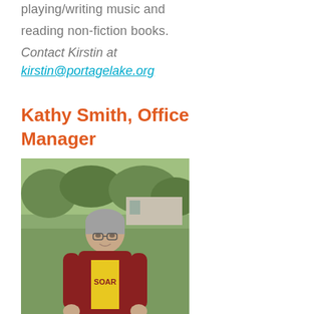playing/writing music and reading non-fiction books.
Contact Kirstin at kirstin@portagelake.org
Kathy Smith, Office Manager
[Figure (photo): Photo of Kathy Smith standing outdoors on a grassy area wearing a maroon jacket over a yellow SOAR t-shirt, with trees in the background.]
Kathy has worked at camp since 2001.  She likes to say,